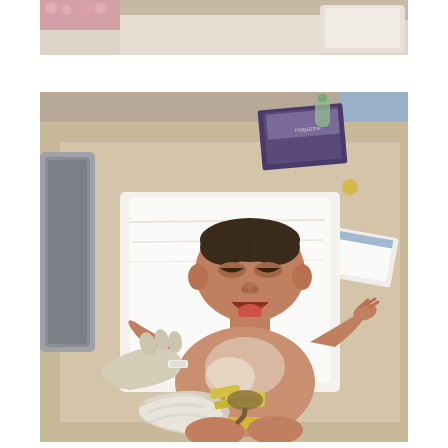[Figure (photo): Top portion of a photo showing what appears to be a hospital setting with a bed or table, partial view of a patient or person]
[Figure (photo): A newborn baby lying on a white towel on a hospital table, crying, while a medical professional wearing latex gloves attends to the umbilical cord with a clamp. Medical supplies visible in background.]